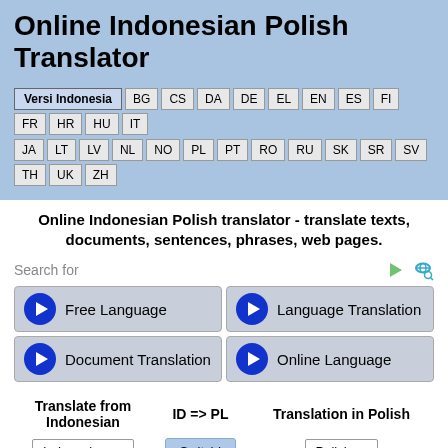Online Indonesian Polish Translator
[Figure (screenshot): Language selector bar with buttons: Versi Indonesia (active), BG, CS, DA, DE, EL, EN, ES, FI, FR, HR, HU, IT, JA, LT, LV, NL, NO, PL, PT, RO, RU, SK, SR, SV, TH, UK, ZH]
Online Indonesian Polish translator - translate texts, documents, sentences, phrases, web pages.
Search for
[Figure (screenshot): Ad grid with 4 items: Free Language, Language Translation, Document Translation, Online Language — each with a blue arrow circle button]
| Translate from Indonesian | ID => PL | Translation in Polish |
| --- | --- | --- |
| Indonesian ▾ | Switch! | Polish ▾ |
[Figure (screenshot): Text input area (white box with blue border, empty, cursor visible)]